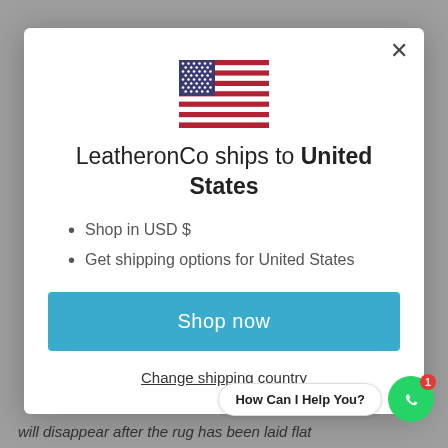[Figure (illustration): US flag SVG illustration centered at top of modal]
LeatheronCo ships to United States
Shop in USD $
Get shipping options for United States
Shop now
Change shipping country
How Can I Help You?
will disappear after the rug has been laid flat